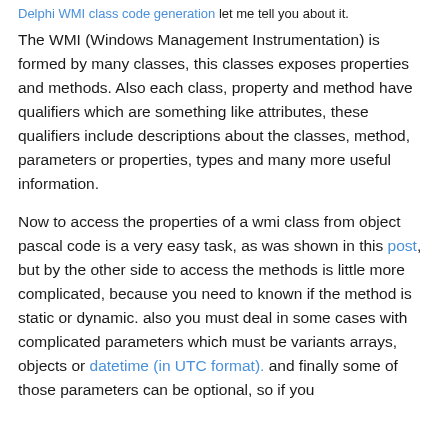Delphi WMI class code generation let me tell you about it.
The WMI (Windows Management Instrumentation) is formed by many classes, this classes exposes properties and methods. Also each class, property and method have qualifiers which are something like attributes, these qualifiers include descriptions about the classes, method, parameters or properties, types and many more useful information.
Now to access the properties of a wmi class from object pascal code is a very easy task, as was shown in this post, but by the other side to access the methods is little more complicated, because you need to known if the method is static or dynamic. also you must deal in some cases with complicated parameters which must be variants arrays, objects or datetime (in UTC format). and finally some of those parameters can be optional, so if you